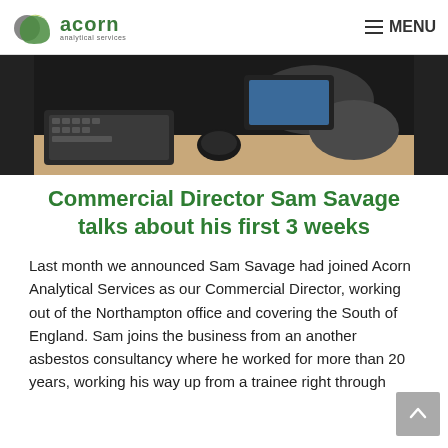acorn analytical services  ≡ MENU
[Figure (photo): Partial photo showing a person seated at a desk with a keyboard and mouse visible, shot from above/side angle.]
Commercial Director Sam Savage talks about his first 3 weeks
Last month we announced Sam Savage had joined Acorn Analytical Services as our Commercial Director, working out of the Northampton office and covering the South of England. Sam joins the business from an another asbestos consultancy where he worked for more than 20 years, working his way up from a trainee right through